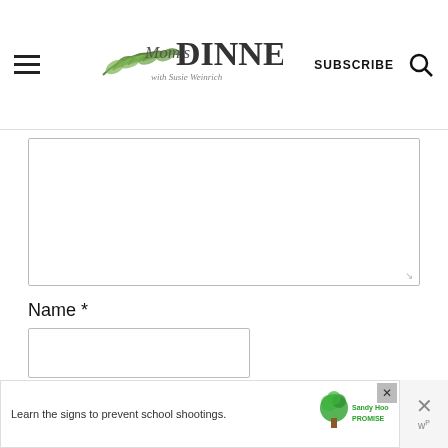Mom's DINNER with Susie Weinrich | SUBSCRIBE
[Figure (screenshot): Comment form textarea (empty) with resize handle]
Name *
[Figure (screenshot): Name input field (empty)]
Email *
[Figure (screenshot): Email input field (empty)]
POST COMMENT
[Figure (screenshot): Sandy Hook Promise advertisement: Learn the signs to prevent school shootings.]